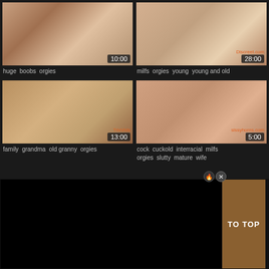[Figure (screenshot): Video thumbnail top-left with duration 10:00]
huge boobs orgies
[Figure (screenshot): Video thumbnail top-right with duration 28:00, Discreet.com watermark]
milfs orgies young young and old
[Figure (screenshot): Video thumbnail bottom-left with duration 13:00, TrixVids watermark]
family grandma old granny orgies
[Figure (screenshot): Video thumbnail bottom-right with duration 5:00, sissyhorns.com watermark]
cock cuckold interracial milfs orgies slutty mature wife